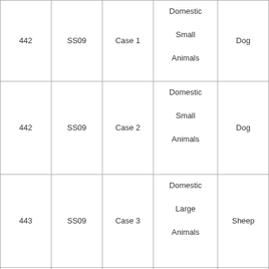| 442 | SS09 | Case 1 | Domestic Small Animals | Dog |
| 442 | SS09 | Case 2 | Domestic Small Animals | Dog |
| 443 | SS09 | Case 3 | Domestic Large Animals | Sheep |
| 444 | SS09 | Case 4 | Reptiles | Iguana |
| 445 | SS09 | Case 5 | Domestic Large Animals | Pig |
| 446 | SS09 | Case 6 | Domestic Small Animals | Dog |
| 447 | SS09 | Case 7 | Domestic Small Animals | Cat |